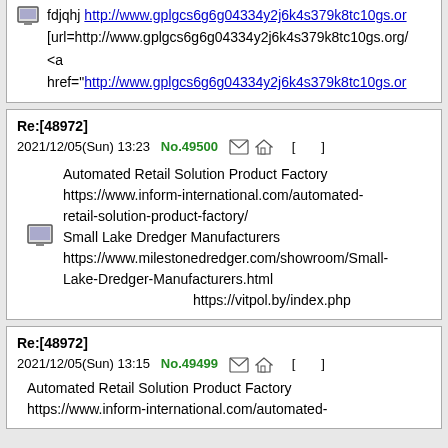[url=http://www.gplgcs6g6g04334y2j6k4s379k8tc10gs.org/] <a href="http://www.gplgcs6g6g04334y2j6k4s379k8tc10gs.or
Re:[48972] [Japanese text] [Japanese text] [Japanese text]
2021/12/05(Sun) 13:23  No.49500  [icons]  [image]
Automated Retail Solution Product Factory https://www.inform-international.com/automated-retail-solution-product-factory/ Small Lake Dredger Manufacturers https://www.milestonedredger.com/showroom/Small-Lake-Dredger-Manufacturers.html [Japanese text] https://vitpol.by/index.php
Re:[48972] [Japanese text] [Japanese text] [Japanese text]
2021/12/05(Sun) 13:15  No.49499  [icons]  [image]
Automated Retail Solution Product Factory https://www.inform-international.com/automated-